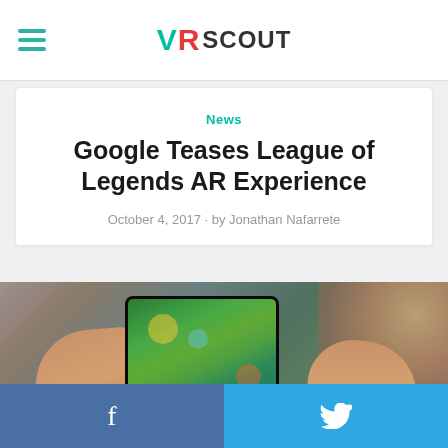VR SCOUT
News
Google Teases League of Legends AR Experience
October 4, 2017 • by Jonathan Nafarrete
[Figure (photo): Person holding a smartphone horizontally in both hands, the phone screen displaying a League of Legends AR gameplay view with vibrant green game map]
Facebook share | Twitter share